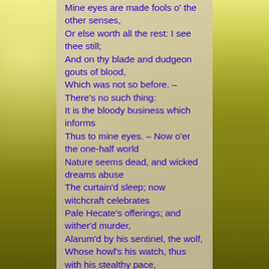Mine eyes are made fools o' the other senses,
Or else worth all the rest: I see thee still;
And on thy blade and dudgeon gouts of blood,
Which was not so before. – There's no such thing:
It is the bloody business which informs
Thus to mine eyes. – Now o'er the one-half world
Nature seems dead, and wicked dreams abuse
The curtain'd sleep; now witchcraft celebrates
Pale Hecate's offerings; and wither'd murder,
Alarum'd by his sentinel, the wolf,
Whose howl's his watch, thus with his stealthy pace,
With Tarquin's ravishing strides, towards his design
Moves like a ghost. – Thou sure and firm-set earth,
Hear not my steps, which way they walk, for fear
Thy very stones prate of my whereabout,